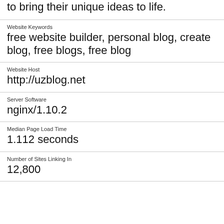to bring their unique ideas to life.
Website Keywords
free website builder, personal blog, create blog, free blogs, free blog
Website Host
http://uzblog.net
Server Software
nginx/1.10.2
Median Page Load Time
1.112 seconds
Number of Sites Linking In
12,800